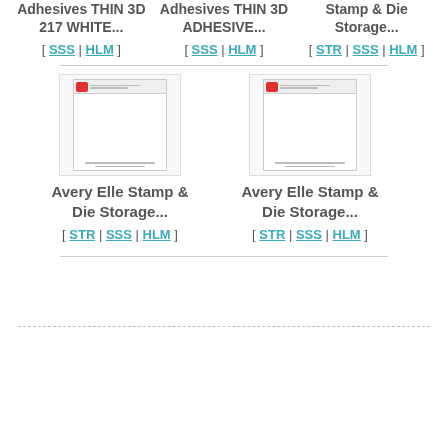Adhesives THIN 3D 217 WHITE...
[ SSS | HLM ]
Adhesives THIN 3D ADHESIVE...
[ SSS | HLM ]
Stamp & Die Storage...
[ STR | SSS | HLM ]
[Figure (photo): Avery Elle Stamp & Die Storage product image]
Avery Elle Stamp & Die Storage...
[ STR | SSS | HLM ]
[Figure (photo): Avery Elle Stamp & Die Storage product image]
Avery Elle Stamp & Die Storage...
[ STR | SSS | HLM ]